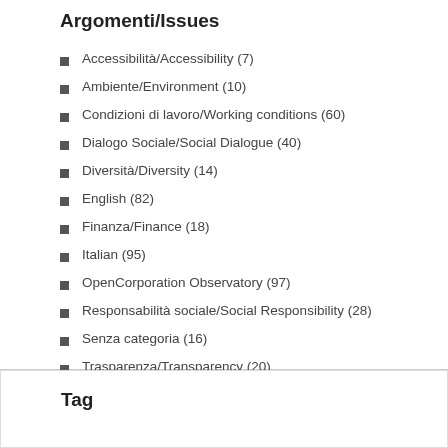Argomenti/Issues
Accessibilità/Accessibility (7)
Ambiente/Environment (10)
Condizioni di lavoro/Working conditions (60)
Dialogo Sociale/Social Dialogue (40)
Diversità/Diversity (14)
English (82)
Finanza/Finance (18)
Italian (95)
OpenCorporation Observatory (97)
Responsabilità sociale/Social Responsibility (28)
Senza categoria (16)
Trasparenza/Transparency (20)
Tag